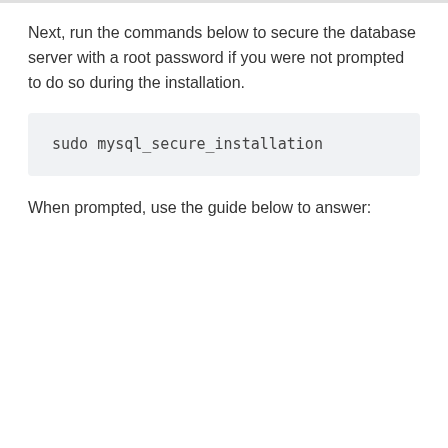Next, run the commands below to secure the database server with a root password if you were not prompted to do so during the installation.
sudo mysql_secure_installation
When prompted, use the guide below to answer: